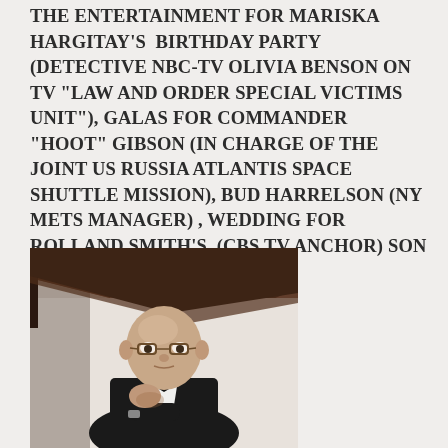THE ENTERTAINMENT FOR MARISKA HARGITAY'S BIRTHDAY PARTY (DETECTIVE NBC-TV OLIVIA BENSON ON TV "LAW AND ORDER SPECIAL VICTIMS UNIT"), GALAS FOR COMMANDER "HOOT" GIBSON (IN CHARGE OF THE JOINT US RUSSIA ATLANTIS SPACE SHUTTLE MISSION), BUD HARRELSON (NY METS MANAGER) , WEDDING FOR ROLLAND SMITH'S (CBS TV ANCHOR) SON
[Figure (photo): A bald man wearing glasses and a dark suit with a bow tie, seated and resting his chin on his hand, photographed against a light background with a dark frame or wall visible in the upper portion.]